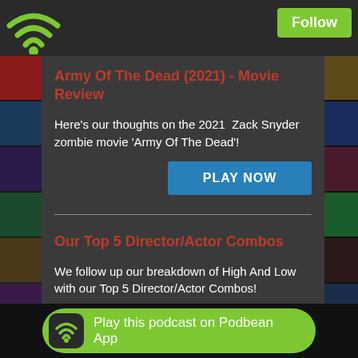[Figure (logo): Green WiFi signal icon in top left corner]
Follow
Army Of The Dead (2021) - Movie Review
Here's our thoughts on the 2021  Zack Snyder zombie movie 'Army Of The Dead'!
PLAY NOW
Our Top 5 Director/Actor Combos
We follow up our breakdown of High And Low with our Top 5 Director/Actor Combos!
PLAY NOW
Play this podcast on Podbean App